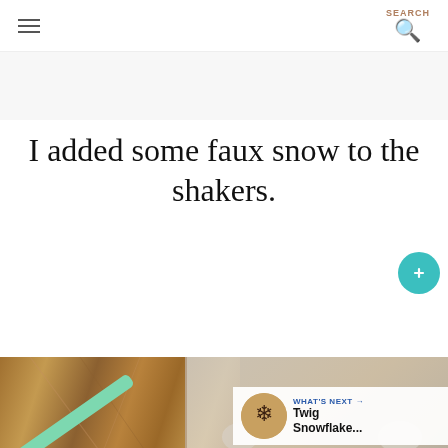SEARCH
I added some faux snow to the shakers.
[Figure (photo): Photo of a wooden surface with a mint/green straw and a clear plastic bag containing faux snow material]
WHAT'S NEXT → Twig Snowflake...
We're Open and Here to Help CarMax